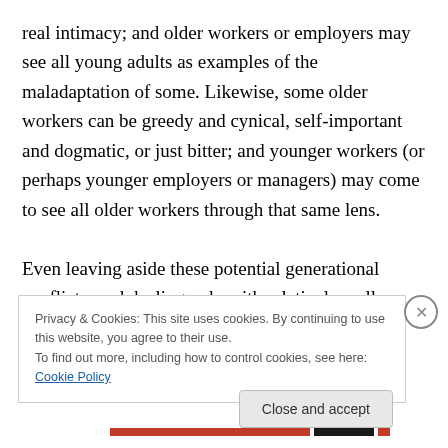real intimacy; and older workers or employers may see all young adults as examples of the maladaptation of some. Likewise, some older workers can be greedy and cynical, self-important and dogmatic, or just bitter; and younger workers (or perhaps younger employers or managers) may come to see all older workers through that same lens.

Even leaving aside these potential generational conflicts, and dealing only with relatively well-adjusted people, the worker's needs change with time, and his or her attitudes towards work will change.  The job that once seemed
Privacy & Cookies: This site uses cookies. By continuing to use this website, you agree to their use.
To find out more, including how to control cookies, see here: Cookie Policy
Close and accept